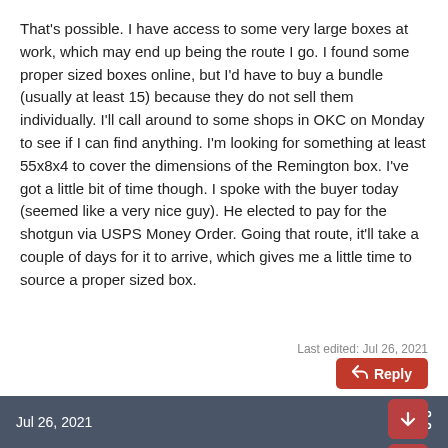That's possible. I have access to some very large boxes at work, which may end up being the route I go. I found some proper sized boxes online, but I'd have to buy a bundle (usually at least 15) because they do not sell them individually. I'll call around to some shops in OKC on Monday to see if I can find anything. I'm looking for something at least 55x8x4 to cover the dimensions of the Remington box. I've got a little bit of time though. I spoke with the buyer today (seemed like a very nice guy). He elected to pay for the shotgun via USPS Money Order. Going that route, it'll take a couple of days for it to arrive, which gives me a little time to source a proper sized box.
Last edited: Jul 26, 2021
Reply
Jacob Thomas, dennishoddy, BobbyV and 2 others
Jul 26, 2021